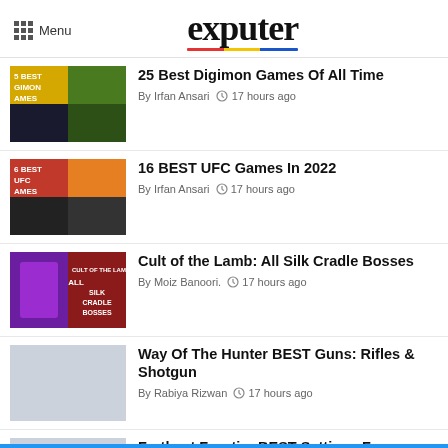Menu | exputer
25 Best Digimon Games Of All Time — By Irfan Ansari · 17 hours ago
16 BEST UFC Games In 2022 — By Irfan Ansari · 17 hours ago
Cult of the Lamb: All Silk Cradle Bosses — By Moiz Banoori. · 17 hours ago
Way Of The Hunter BEST Guns: Rifles & Shotgun — By Rabiya Rizwan · 17 hours ago
Farthest Frontier BEST Settings For